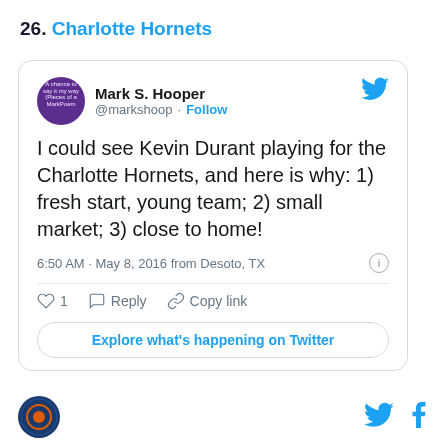26. Charlotte Hornets
[Figure (screenshot): Embedded tweet from @markshoop (Mark S. Hooper) stating: 'I could see Kevin Durant playing for the Charlotte Hornets, and here is why: 1) fresh start, young team; 2) small market; 3) close to home!' posted at 6:50 AM · May 8, 2016 from Desoto, TX. Shows 1 like. Includes Follow button and 'Explore what's happening on Twitter' button.]
[Figure (logo): Website logo at bottom left - circular dark blue badge]
[Figure (logo): Twitter bird icon at bottom right]
[Figure (logo): Facebook f icon at bottom right]